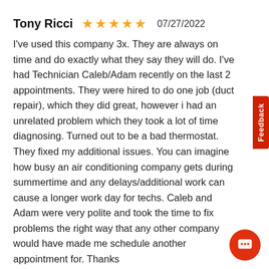Tony Ricci ★★★★★ 07/27/2022
I've used this company 3x. They are always on time and do exactly what they say they will do. I've had Technician Caleb/Adam recently on the last 2 appointments. They were hired to do one job (duct repair), which they did great, however i had an unrelated problem which they took a lot of time diagnosing. Turned out to be a bad thermostat. They fixed my additional issues. You can imagine how busy an air conditioning company gets during summertime and any delays/additional work can cause a longer work day for techs. Caleb and Adam were very polite and took the time to fix problems the right way that any other company would have made me schedule another appointment for. Thanks